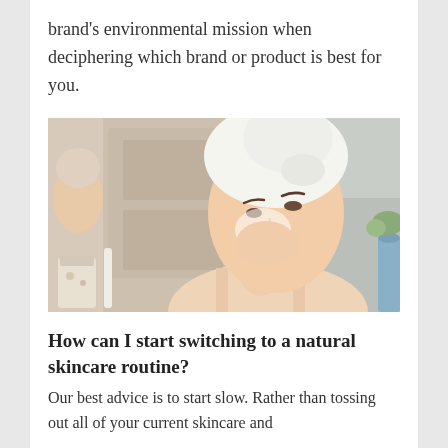brand's environmental mission when deciphering which brand or product is best for you.
[Figure (photo): Young woman with white towel wrapped on her head applying skincare product to her face, smiling, in a bathroom setting with mirror reflection and toiletries visible.]
How can I start switching to a natural skincare routine?
Our best advice is to start slow. Rather than tossing out all of your current skincare and